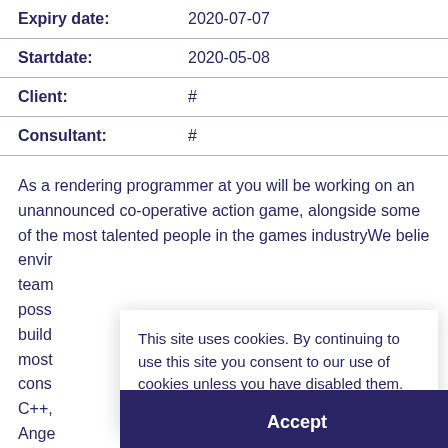| Expiry date: | 2020-07-07 |
| Startdate: | 2020-05-08 |
| Client: | # |
| Consultant: | # |
As a rendering programmer at you will be working on an unannounced co-operative action game, alongside some of the most talented people in the games industryWe belie envir team poss build most cons C++, Ange curious mind. Fluent English - our team comes from all
This site uses cookies. By continuing to use this site you consent to our use of cookies unless you have disabled them. More
Accept